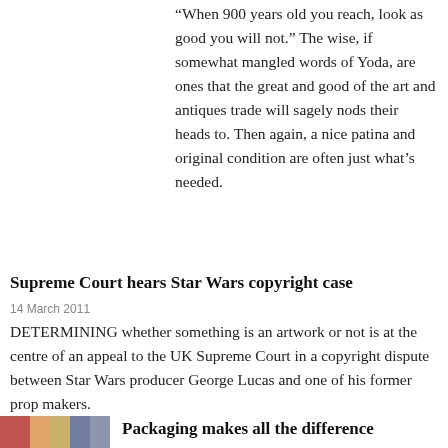“When 900 years old you reach, look as good you will not.” The wise, if somewhat mangled words of Yoda, are ones that the great and good of the art and antiques trade will sagely nods their heads to. Then again, a nice patina and original condition are often just what’s needed.
Supreme Court hears Star Wars copyright case
14 March 2011
DETERMINING whether something is an artwork or not is at the centre of an appeal to the UK Supreme Court in a copyright dispute between Star Wars producer George Lucas and one of his former prop makers.
[Figure (photo): Small thumbnail image at bottom left of page]
Packaging makes all the difference